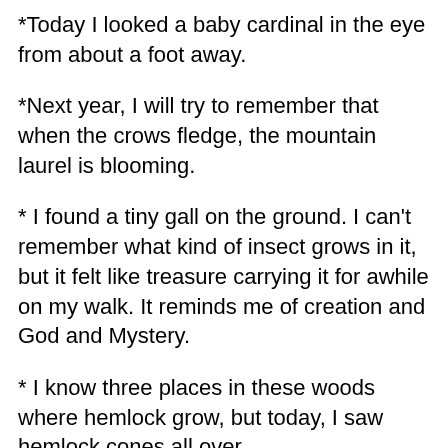*Today I looked a baby cardinal in the eye from about a foot away.
*Next year, I will try to remember that when the crows fledge, the mountain laurel is blooming.
* I found a tiny gall on the ground. I can't remember what kind of insect grows in it, but it felt like treasure carrying it for awhile on my walk. It reminds me of creation and God and Mystery.
* I know three places in these woods where hemlock grow, but today, I saw hemlock cones all over